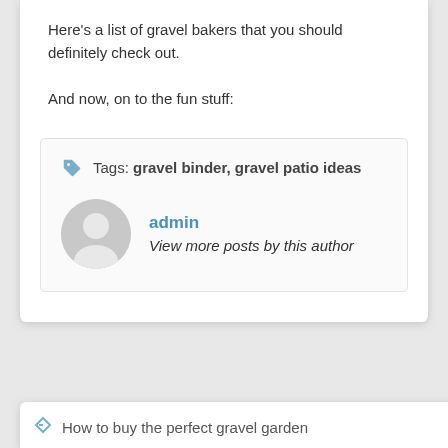Here's a list of gravel bakers that you should definitely check out.
And now, on to the fun stuff:
Tags: gravel binder, gravel patio ideas
admin
View more posts by this author
How to buy the perfect gravel garden